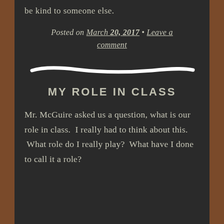be kind to someone else.
Posted on March 20, 2017 • Leave a comment
[Figure (illustration): A hand-drawn white chalk line across the chalkboard, serving as a horizontal divider]
MY ROLE IN CLASS
Mr. McGuire asked us a question, what is our role in class. I really had to think about this. What role do I really play? What have I done to call it a role?